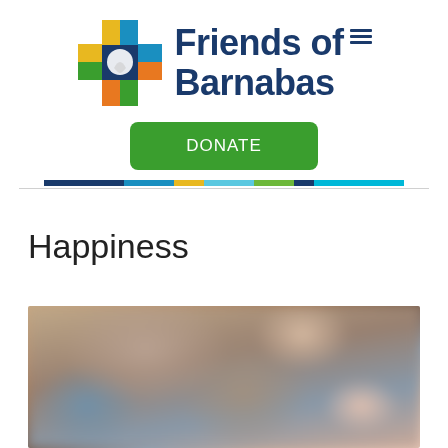[Figure (logo): Friends of Barnabas logo: a colorful cross with hands in blue, yellow, green, and orange, next to the text 'Friends of Barnabas' in dark navy bold font, with a hamburger menu icon]
[Figure (other): Green DONATE button with rounded corners and white text]
[Figure (other): Decorative colorbar with segments in dark navy, blue, yellow, light blue, green, dark, and cyan colors, followed by a thin gray horizontal divider]
Happiness
[Figure (photo): Blurred photograph showing close-up of people, warm brown and blue tones, appears to show children or people together]